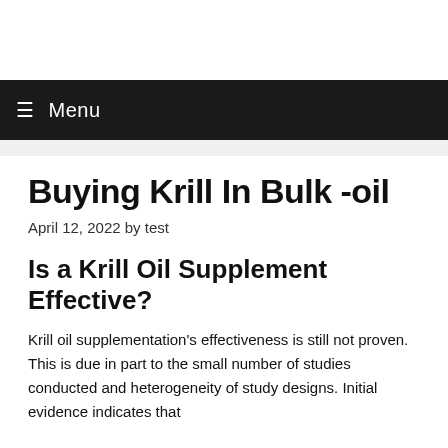☰ Menu
Buying Krill In Bulk -oil
April 12, 2022 by test
Is a Krill Oil Supplement Effective?
Krill oil supplementation's effectiveness is still not proven. This is due in part to the small number of studies conducted and heterogeneity of study designs. Initial evidence indicates that